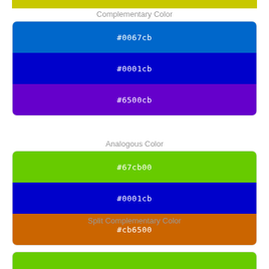[Figure (infographic): Yellow-green top bar partial color swatch]
Complementary Color
[Figure (infographic): Complementary color swatches: #0067cb (steel blue), #0001cb (dark blue), #6500cb (purple)]
Analogous Color
[Figure (infographic): Analogous color swatches: #67cb00 (green), #0001cb (dark blue), #cb6500 (orange-brown)]
Split Complementary Color
[Figure (infographic): Bottom partial green bar for split complementary section]